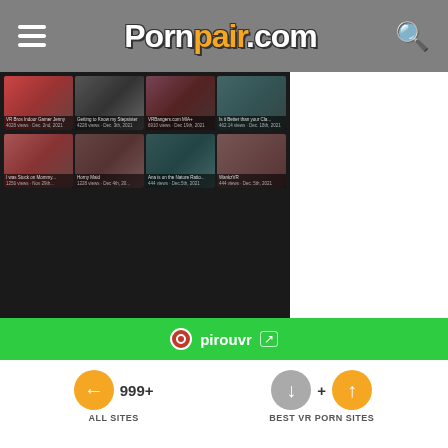Pornpair.com — navigation header with hamburger menu and search icon
[Figure (screenshot): Website card showing Pirouvr VR porn site with thumbnail grid of 8 video thumbnails and site name at bottom]
1  Pirouvr
See All BEST VR PORN SITES (1) →
pirouvr ↗   999+  ALL SITES   +  BEST VR PORN SITES  ↑